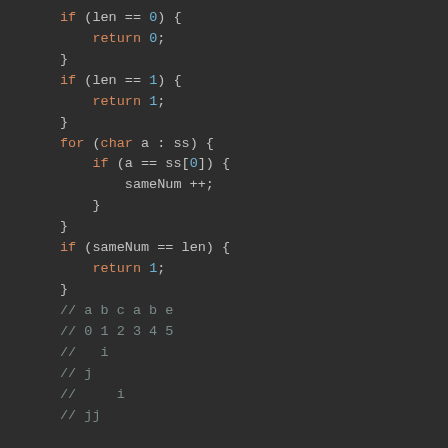[Figure (screenshot): Code snippet in a dark-themed code editor showing Java/C++ code with if statements, a for-each loop, and comment lines. Code uses syntax highlighting with orange keywords and blue numbers.]